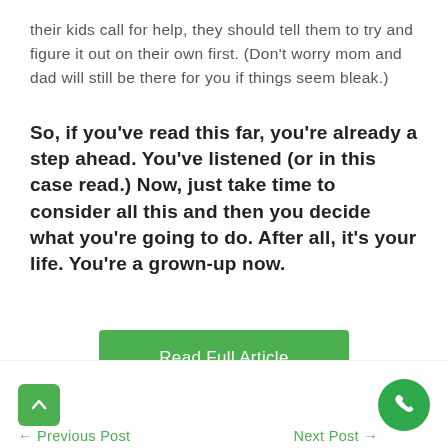their kids call for help, they should tell them to try and figure it out on their own first. (Don't worry mom and dad will still be there for you if things seem bleak.)
So, if you've read this far, you're already a step ahead. You've listened (or in this case read.) Now, just take time to consider all this and then you decide what you're going to do. After all, it's your life. You're a grown-up now.
[Figure (other): Green 'Read Full Article' button]
← Previous Post    Next Post →